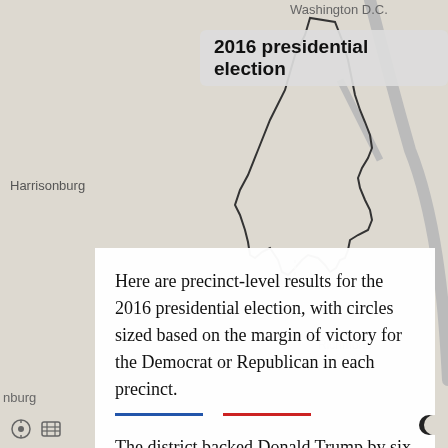[Figure (map): Background map of Virginia/DC region showing geographic outlines including a congressional district boundary, with city labels for Harrisonburg, Richmond, and Washington D.C.]
2016 presidential election
Here are precinct-level results for the 2016 presidential election, with circles sized based on the margin of victory for the Democrat or Republican in each precinct.
The district backed Donald Trump by six percentage points in 2016. Democratic margins around Richmond were outweighed by the Republican tilt of the